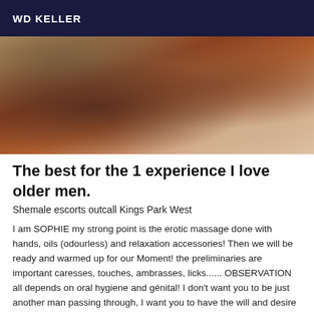WD KELLER
[Figure (photo): Close-up photo of human legs/thighs against a light background]
The best for the 1 experience I love older men.
Shemale escorts outcall Kings Park West
I am SOPHIE my strong point is the erotic massage done with hands, oils (odourless) and relaxation accessories! Then we will be ready and warmed up for our Moment! the preliminaries are important caresses, touches, ambrasses, licks...... OBSERVATION all depends on oral hygiene and génital! I don't want you to be just another man passing through, I want you to have the will and desire to come back home to me in any city